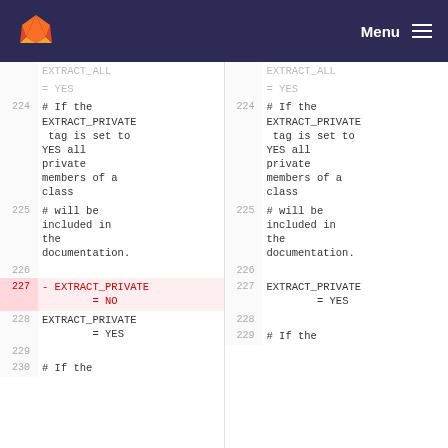GitLab Menu
Diff view of a configuration file showing EXTRACT_PRIVATE settings. Left side shows old version (lines 224-230), right side shows new version (lines 224-229). Line 227 is removed (EXTRACT_PRIVATE = NO) in old version, replaced with EXTRACT_PRIVATE = YES starting at line 227 in new version.